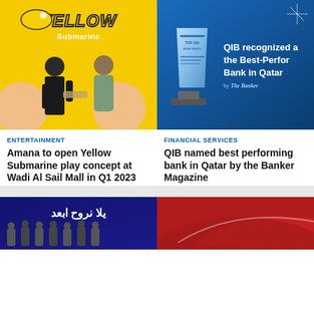[Figure (photo): Yellow Submarine play concept branding image with two people shaking hands in front of a yellow background with Yellow Submarine logo]
[Figure (photo): QIB bank award image showing a crystal trophy and text 'QIB recognized as the Best-Performing Bank in Qatar by The Banker' on a blue gradient background]
ENTERTAINMENT
Amana to open Yellow Submarine play concept at Wadi Al Sail Mall in Q1 2023
FINANCIAL SERVICES
QIB named best performing bank in Qatar by the Banker Magazine
[Figure (photo): Dark blue background with Arabic text 'يلا نروح ابعد' and group of young men standing below]
[Figure (photo): Red background with a red swoosh/stripe graphic element]